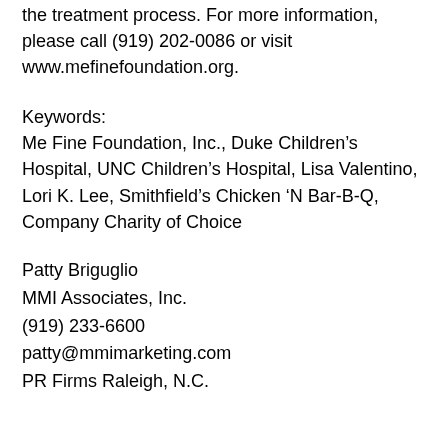the treatment process. For more information, please call (919) 202-0086 or visit www.mefinefoundation.org.
Keywords:
Me Fine Foundation, Inc., Duke Children's Hospital, UNC Children's Hospital, Lisa Valentino, Lori K. Lee, Smithfield's Chicken 'N Bar-B-Q, Company Charity of Choice
Patty Briguglio
MMI Associates, Inc.
(919) 233-6600
patty@mmimarketing.com
PR Firms Raleigh, N.C.